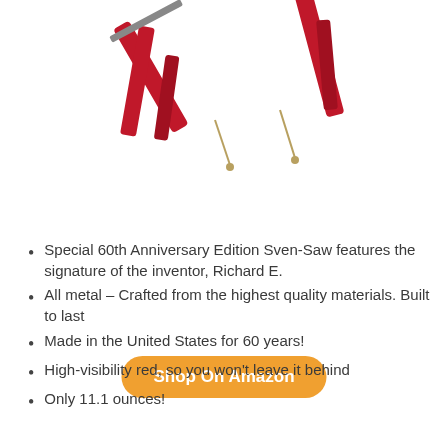[Figure (photo): Product photo of red folding Sven-Saw tools, partially cropped at top, showing red metal frames with saw blades and hanging strings, on white background]
Shop On Amazon
Special 60th Anniversary Edition Sven-Saw features the signature of the inventor, Richard E.
All metal – Crafted from the highest quality materials. Built to last
Made in the United States for 60 years!
High-visibility red, so you won't leave it behind
Only 11.1 ounces!